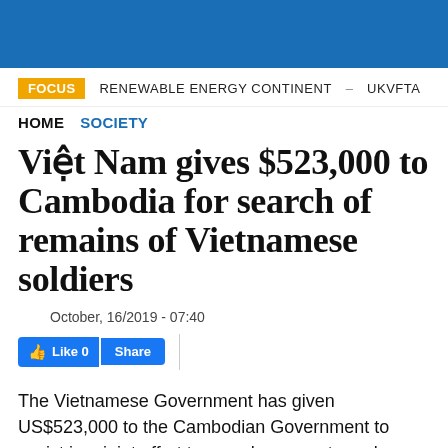FOCUS   RENEWABLE ENERGY CONTINENT – UKVFTA
HOME   SOCIETY
Việt Nam gives $523,000 to Cambodia for search of remains of Vietnamese soldiers
October, 16/2019 - 07:40
Like 0   Share
The Vietnamese Government has given US$523,000 to the Cambodian Government to assist in a joint effort to search, excavate and